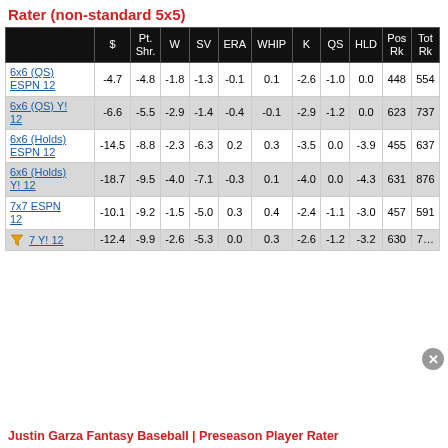Rater (non-standard 5x5)
|  | $ | Pt. Shr. | W | SV | ERA | WHIP | K | QS | HLD | Pos Rk | Tot Rk |
| --- | --- | --- | --- | --- | --- | --- | --- | --- | --- | --- | --- |
| 6x6 (QS) ESPN 12 | -4.7 | -4.8 | -1.8 | -1.3 | -0.1 | 0.1 | -2.6 | -1.0 | 0.0 | 448 | 554 |
| 6x6 (QS) Y! 12 | -6.6 | -5.5 | -2.9 | -1.4 | -0.4 | -0.1 | -2.9 | -1.2 | 0.0 | 623 | 737 |
| 6x6 (Holds) ESPN 12 | -14.5 | -8.8 | -2.3 | -6.3 | 0.2 | 0.3 | -3.5 | 0.0 | -3.9 | 455 | 637 |
| 6x6 (Holds) Y! 12 | -18.7 | -9.5 | -4.0 | -7.1 | -0.3 | 0.1 | -4.0 | 0.0 | -4.3 | 631 | 876 |
| 7x7 ESPN 12 | -10.1 | -9.2 | -1.5 | -5.0 | 0.3 | 0.4 | -2.4 | -1.1 | -3.0 | 457 | 591 |
| 7 Y! 12 | -12.4 | -9.9 | -2.6 | -5.3 | 0.0 | 0.3 | -2.6 | -1.2 | -3.2 | 630 | 7… |
Justin Garza Fantasy Baseball | Preseason Player Rater